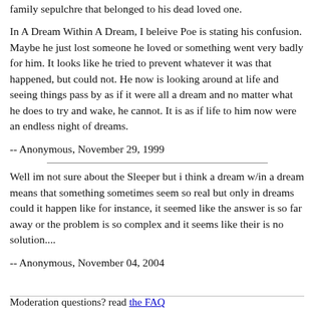family sepulchre that belonged to his dead loved one.
In A Dream Within A Dream, I beleive Poe is stating his confusion. Maybe he just lost someone he loved or something went very badly for him. It looks like he tried to prevent whatever it was that happened, but could not. He now is looking around at life and seeing things pass by as if it were all a dream and no matter what he does to try and wake, he cannot. It is as if life to him now were an endless night of dreams.
-- Anonymous, November 29, 1999
Well im not sure about the Sleeper but i think a dream w/in a dream means that something sometimes seem so real but only in dreams could it happen like for instance, it seemed like the answer is so far away or the problem is so complex and it seems like their is no solution....
-- Anonymous, November 04, 2004
Moderation questions? read the FAQ